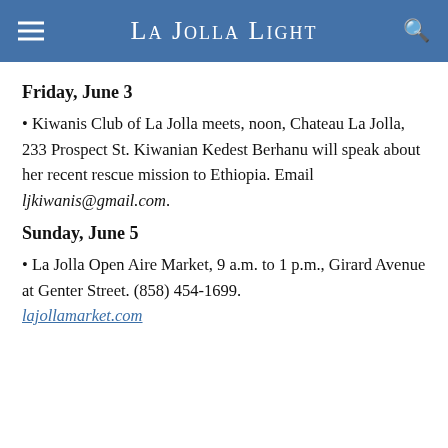La Jolla Light
Friday, June 3
• Kiwanis Club of La Jolla meets, noon, Chateau La Jolla, 233 Prospect St. Kiwanian Kedest Berhanu will speak about her recent rescue mission to Ethiopia. Email ljkiwanis@gmail.com.
Sunday, June 5
• La Jolla Open Aire Market, 9 a.m. to 1 p.m., Girard Avenue at Genter Street. (858) 454-1699. lajollamarket.com